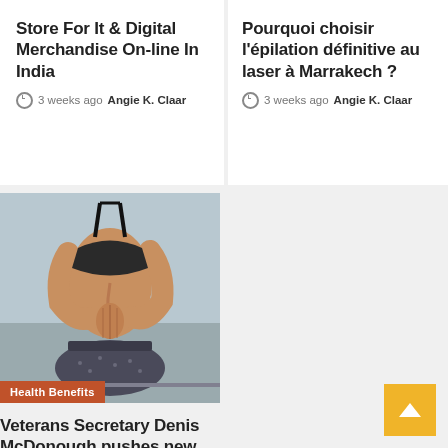Store For It & Digital Merchandise On-line In India
3 weeks ago  Angie K. Claar
Pourquoi choisir l'épilation définitive au laser à Marrakech ?
3 weeks ago  Angie K. Claar
[Figure (photo): Woman in yoga meditation pose sitting cross-legged with hands pressed together behind back, wearing sports bra and patterned leggings, with 'Health Benefits' label overlay]
Veterans Secretary Denis McDonough pushes new health benefits, new